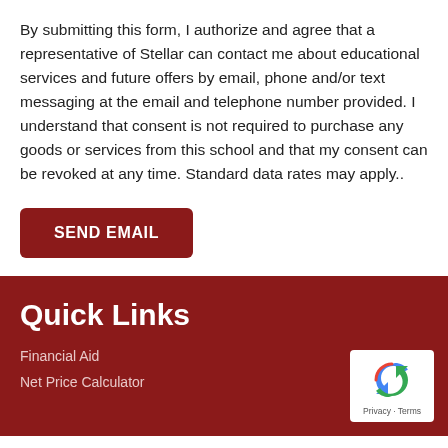By submitting this form, I authorize and agree that a representative of Stellar can contact me about educational services and future offers by email, phone and/or text messaging at the email and telephone number provided. I understand that consent is not required to purchase any goods or services from this school and that my consent can be revoked at any time. Standard data rates may apply..
SEND EMAIL
Quick Links
Financial Aid
Net Price Calculator